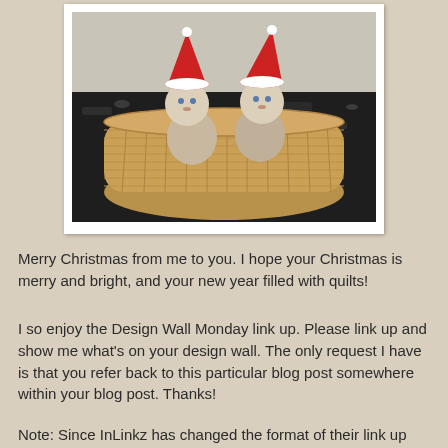[Figure (photo): Two baby dolls with red Santa hats sitting in a woven oval basket on a dark granite countertop with a light wall in the background.]
Merry Christmas from me to you.  I hope your Christmas is merry and bright, and your new year filled with quilts!
I so enjoy the Design Wall Monday link up.  Please link up and show me what's on your design wall.  The only request I have is that you refer back to this particular blog post somewhere within your blog post.  Thanks!
Note:  Since InLinkz has changed the format of their link up